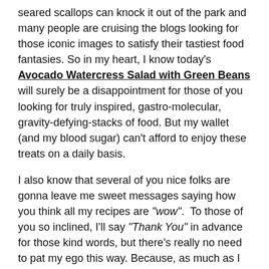seared scallops can knock it out of the park and many people are cruising the blogs looking for those iconic images to satisfy their tastiest food fantasies. So in my heart, I know today's Avocado Watercress Salad with Green Beans will surely be a disappointment for those of you looking for truly inspired, gastro-molecular, gravity-defying-stacks of food. But my wallet (and my blood sugar) can't afford to enjoy these treats on a daily basis.
I also know that several of you nice folks are gonna leave me sweet messages saying how you think all my recipes are "wow". To those of you so inclined, I'll say "Thank You" in advance for those kind words, but there's really no need to pat my ego this way. Because, as much as I love bringing on the wow-factor every once and again, I honestly enjoy real food and real life here just as much as anything.
Green Bean Salad
Real food, real life is how I continue to serve all of...